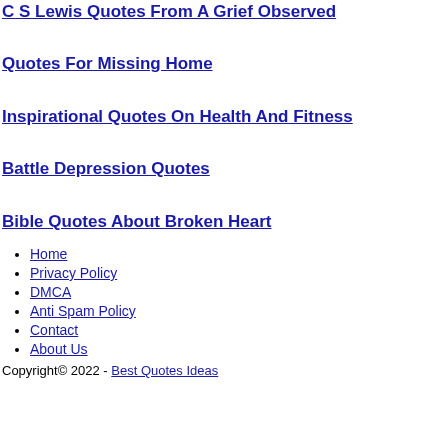C S Lewis Quotes From A Grief Observed
Quotes For Missing Home
Inspirational Quotes On Health And Fitness
Battle Depression Quotes
Bible Quotes About Broken Heart
Home
Privacy Policy
DMCA
Anti Spam Policy
Contact
About Us
Copyright© 2022 - Best Quotes Ideas